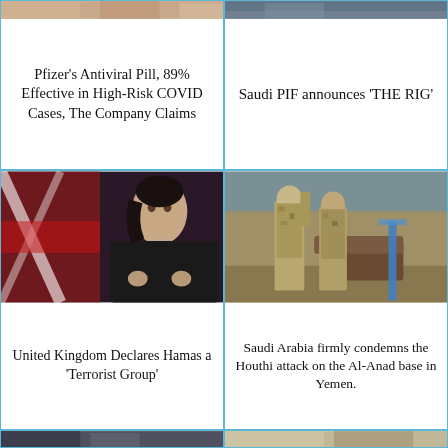[Figure (photo): Partial photo strip at top of Pfizer news card]
Pfizer’s Antiviral Pill, 89% Effective in High-Risk COVID Cases, The Company Claims
[Figure (photo): Partial photo strip at top of Saudi PIF news card]
Saudi PIF announces ‘THE RIG’
[Figure (photo): Photo of a woman in front of a Union Jack flag — UK Home Secretary]
United Kingdom Declares Hamas a ‘Terrorist Group’
[Figure (photo): Photo of soldiers in camouflage uniforms standing in a building]
Saudi Arabia firmly condemns the Houthi attack on the Al-Anad base in Yemen.
[Figure (photo): Partial photo strip at bottom left]
[Figure (photo): Partial photo strip at bottom right]